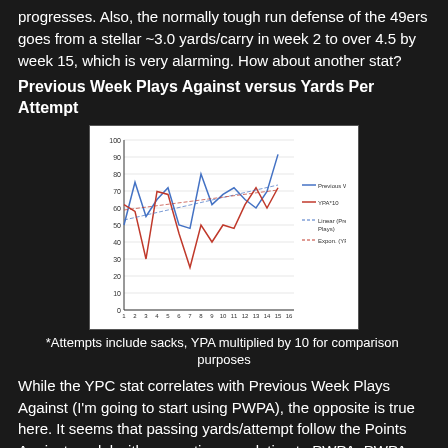progresses. Also, the normally tough run defense of the 49ers goes from a stellar ~3.0 yards/carry in week 2 to over 4.5 by week 15, which is very alarming. How about another stat?
Previous Week Plays Against versus Yards Per Attempt
[Figure (line-chart): ]
*Attempts include sacks, YPA multiplied by 10 for comparison purposes
While the YPC stat correlates with Previous Week Plays Against (I'm going to start using PWPA), the opposite is true here. It seems that passing yards/attempt follow the Points Against model with a negative correlation to PWPA. PWPA